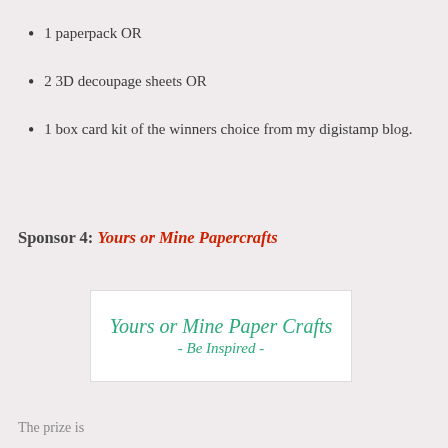1 paperpack OR
2 3D decoupage sheets OR
1 box card kit of the winners choice from my digistamp blog.
Sponsor 4: Yours or Mine Papercrafts
[Figure (logo): Yours or Mine Paper Crafts logo with tagline 'Be Inspired']
The prize is